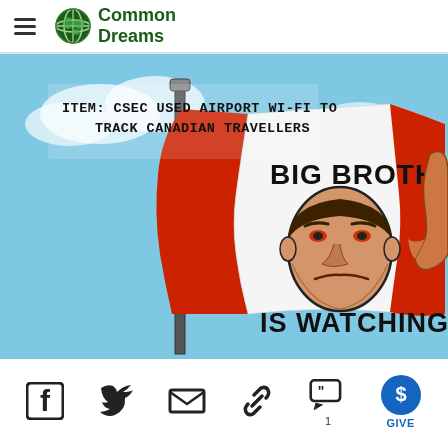Common Dreams
[Figure (illustration): Political cartoon showing a Canadian flag redesigned as a 'Big Brother is Watching' banner with a stern face on the white portion of the flag and text 'BIG BROTHER IS WATCHING'. Top left text reads: 'ITEM: CSEC USED AIRPORT WI-FI TO TRACK CANADIAN TRAVELLERS']
Facebook, Twitter, Email, Link, Comment (1), GIVE social sharing icons